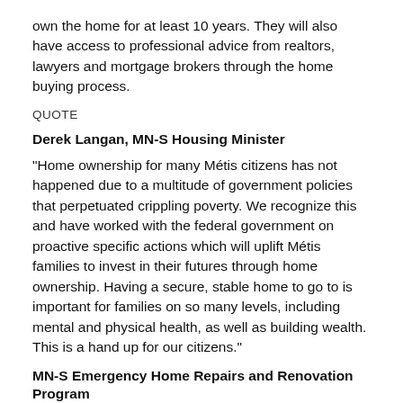own the home for at least 10 years. They will also have access to professional advice from realtors, lawyers and mortgage brokers through the home buying process.
QUOTE
Derek Langan, MN-S Housing Minister
“Home ownership for many Métis citizens has not happened due to a multitude of government policies that perpetuated crippling poverty. We recognize this and have worked with the federal government on proactive specific actions which will uplift Métis families to invest in their futures through home ownership. Having a secure, stable home to go to is important for families on so many levels, including mental and physical health, as well as building wealth. This is a hand up for our citizens.”
MN-S Emergency Home Repairs and Renovation Program
Métis Nation-Saskatchewan announced a home repair